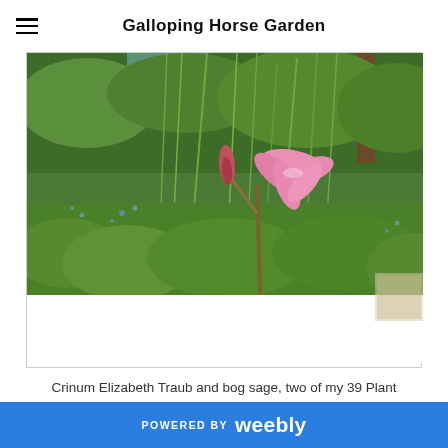Galloping Horse Garden
[Figure (photo): Garden photo showing lush green foliage with a pink Crinum Elizabeth Traub lily flower in bloom, surrounded by bog sage plants in a woodland garden setting.]
Crinum Elizabeth Traub and bog sage, two of my 39 Plant Delights purchases.
POWERED BY weebly